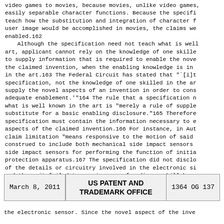video games to movies, because movies, unlike video games, do not have easily separable character functions. Because the specification did not teach how the substitution and integration of character functions into the user image would be accomplished in movies, the claims were not fully enabled.162
    Although the specification need not teach what is well known in the art, applicant cannot rely on the knowledge of one skilled in the art to supply information that is required to enable the novel aspects of the claimed invention, when the enabling knowledge is not generally known in the art.163 The Federal Circuit has stated that "`[i]t is the specification, not the knowledge of one skilled in the art, that must supply the novel aspects of an invention in order to constitute adequate enablement.'"164 The rule that a specification need not teach what is well known in the art is "merely a rule of supplementation, not a substitute for a basic enabling disclosure."165 Therefore, the specification must contain the information necessary to enable the novel aspects of the claimed invention.166 For instance, in Auto, a claim limitation "means responsive to the motion of said vehicle" was construed to include both mechanical side impact sensors and electronic side impact sensors for performing the function of initiating a passenger protection apparatus.167 The specification did not disclose any of the details or circuitry involved in the electronic side sensors and thus, it failed to apprise one of ordinary skill how to make
March 8, 2011    US PATENT AND TRADEMARK OFFICE    1364 OG 137
the electronic sensor. Since the novel aspect of the inve